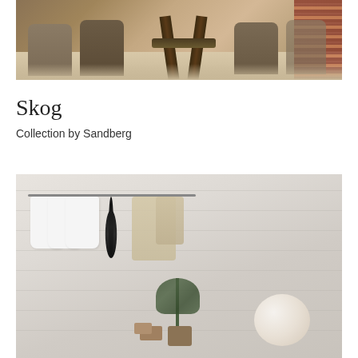[Figure (photo): Dining room scene with wooden chairs upholstered in beige/brown fabric around a large rustic wooden table, with reddish-brown patterned curtains on the right side]
Skog
Collection by Sandberg
[Figure (photo): Minimalist room scene with white t-shirts hanging on a rack with a dark feather decoration, beige knit items, textured light grey wall background, small plant, wooden boxes, and a large white orb/lamp]